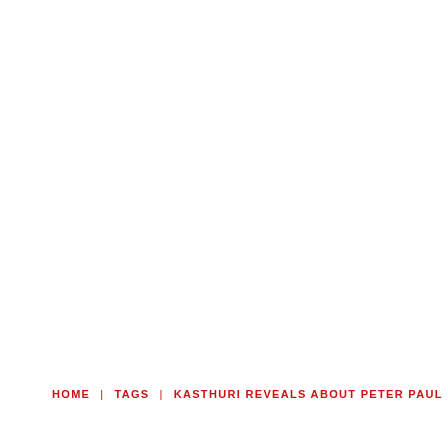HOME  |  TAGS  |  KASTHURI REVEALS ABOUT PETER PAUL